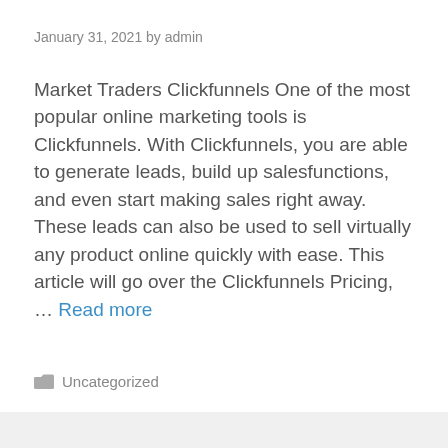January 31, 2021 by admin
Market Traders Clickfunnels One of the most popular online marketing tools is Clickfunnels. With Clickfunnels, you are able to generate leads, build up salesfunctions, and even start making sales right away. These leads can also be used to sell virtually any product online quickly with ease. This article will go over the Clickfunnels Pricing, … Read more
Uncategorized